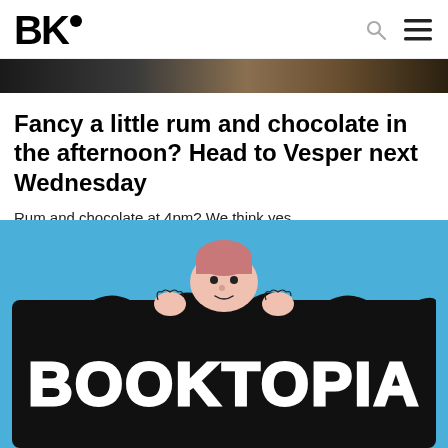BK•
Fancy a little rum and chocolate in the afternoon? Head to Vesper next Wednesday
Rum and chocolate at 4pm? We think yes.
[Figure (illustration): Illustration of a cartoon person peeking over a large black sign reading BOOKTOPIA in white hand-drawn lettering, on a blue background]